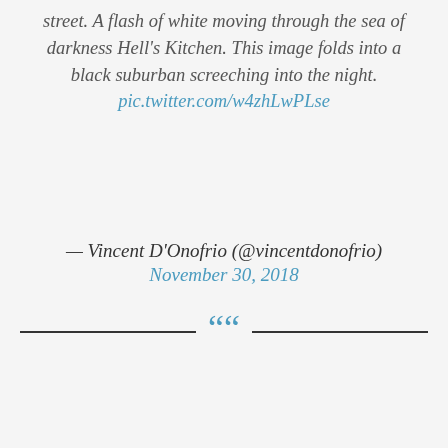street. A flash of white moving through the sea of darkness Hell's Kitchen. This image folds into a black suburban screeching into the night. pic.twitter.com/w4zhLwPLse
— Vincent D'Onofrio (@vincentdonofrio) November 30, 2018